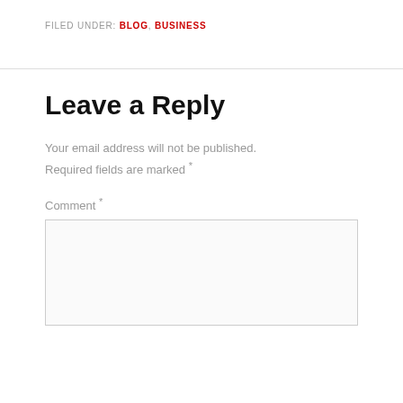FILED UNDER: BLOG, BUSINESS
Leave a Reply
Your email address will not be published. Required fields are marked *
Comment *